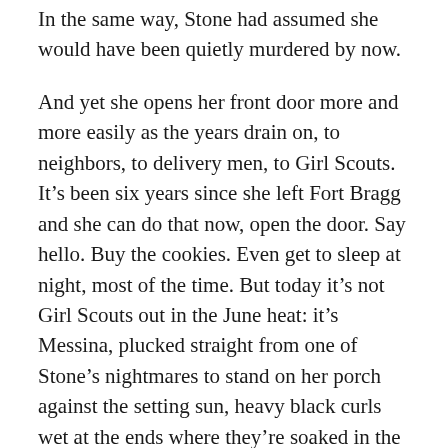In the same way, Stone had assumed she would have been quietly murdered by now.
And yet she opens her front door more and more easily as the years drain on, to neighbors, to delivery men, to Girl Scouts. It’s been six years since she left Fort Bragg and she can do that now, open the door. Say hello. Buy the cookies. Even get to sleep at night, most of the time. But today it’s not Girl Scouts out in the June heat: it’s Messina, plucked straight from one of Stone’s nightmares to stand on her porch against the setting sun, heavy black curls wet at the ends where they’re soaked in the blood on her chest.
At first, neither of them moves. Stone ignores the blood; it’s probably not Messina’s, and if it is, it